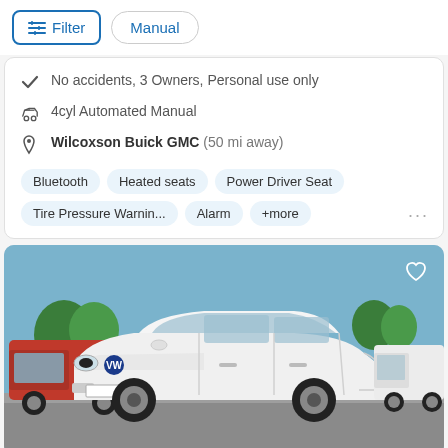Filter | Manual
No accidents, 3 Owners, Personal use only
4cyl Automated Manual
Wilcoxson Buick GMC (50 mi away)
Bluetooth  Heated seats  Power Driver Seat  Tire Pressure Warnin...  Alarm  +more
[Figure (photo): White Volkswagen Golf/Jetta wagon photographed at a car dealership lot, front three-quarter view, sunny day]